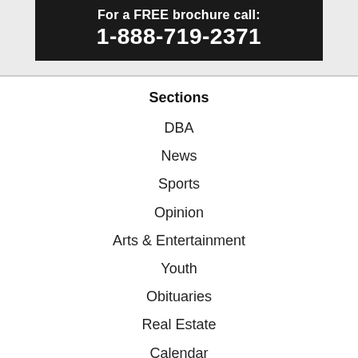[Figure (other): Advertisement banner with dark background. Text reads: 'For a FREE brochure call:' and '1-888-719-2371']
Sections
DBA
News
Sports
Opinion
Arts & Entertainment
Youth
Obituaries
Real Estate
Calendar